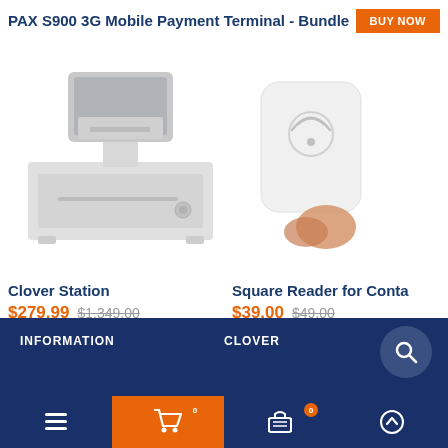PAX S900 3G Mobile Payment Terminal - Bundle
[Figure (screenshot): BUY NOW orange button]
[Figure (photo): Clover Station point-of-sale system with cash drawer, white color]
[Figure (photo): Square Reader for Contactless payments, white card reader device]
Clover Station
$279.99  $1,349.00
ADD TO CART
Square Reader for Conta...
$39.00  $49.00
ADD TO CART
INFORMATION  CLOVER
Navigation icons: menu, cart (0), up arrow, search